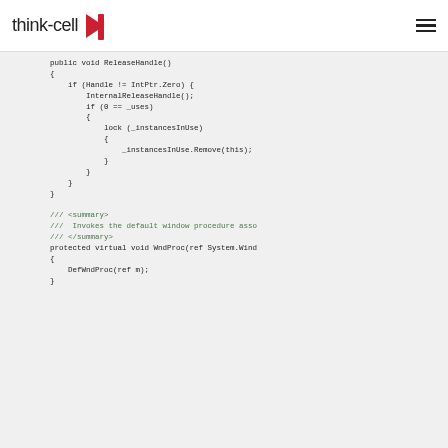think-cell
[Figure (screenshot): C# code snippet showing ReleaseHandle method and WndProc method with XML doc comments, on a light gray background]